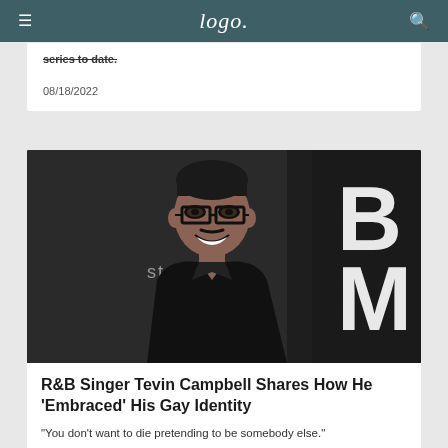Logo
series to date.
08/18/2022
[Figure (photo): Man in black shirt smiling at camera, wearing glasses, at an event with 'Starz' and 'BMF' signage in background]
R&B Singer Tevin Campbell Shares How He 'Embraced' His Gay Identity
"You don't want to die pretending to be somebody else."